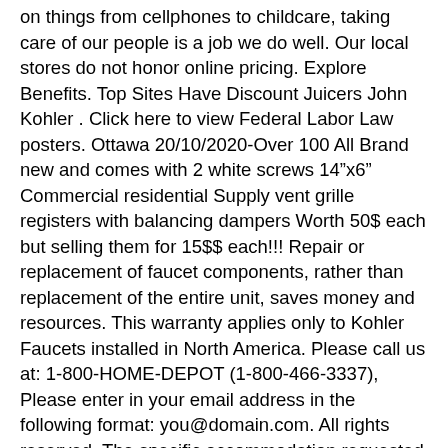on things from cellphones to childcare, taking care of our people is a job we do well. Our local stores do not honor online pricing. Explore Benefits. Top Sites Have Discount Juicers John Kohler . Click here to view Federal Labor Law posters. Ottawa 20/10/2020-Over 100 All Brand new and comes with 2 white screws 14"x6" Commercial residential Supply vent grille registers with balancing dampers Worth 50$ each but selling them for 15$$ each!!! Repair or replacement of faucet components, rather than replacement of the entire unit, saves money and resources. This warranty applies only to Kohler Faucets installed in North America. Please call us at: 1-800-HOME-DEPOT (1-800-466-3337), Please enter in your email address in the following format: you@domain.com. All rights reserved. The specific accommodation requested to complete the employment application. I'm glad to address your concerns. I am replacing bath shower faucet PBU/Service kit GP876851. ENJOY 10% OFF Save 10% on select furniture, home accents, bedding and bath when you sign up for Style & Decor emails from The Home